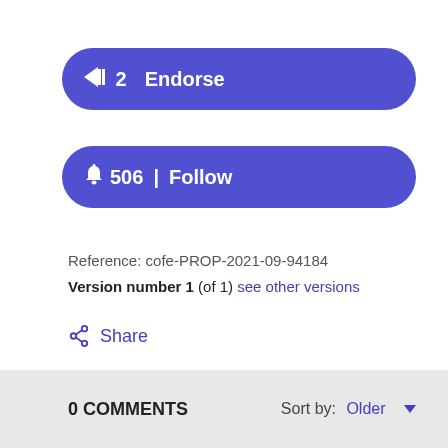🔈 2   Endorse
🔔 506  |  Follow
Reference: cofe-PROP-2021-09-94184
Version number 1 (of 1) see other versions
Share
Embed
0 COMMENTS   Sort by: Older